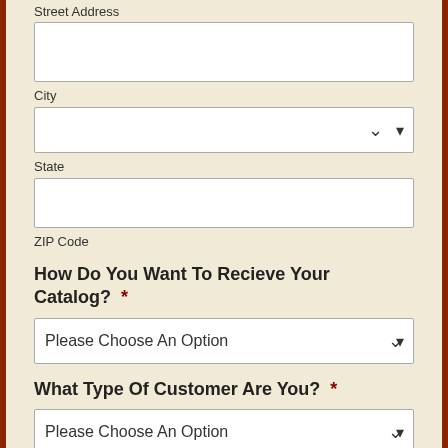Street Address
City
State
ZIP Code
How Do You Want To Recieve Your Catalog?  *
Please Choose An Option
What Type Of Customer Are You?  *
Please Choose An Option
Which structure(s) are you considering?  *
(Check all that apply.)